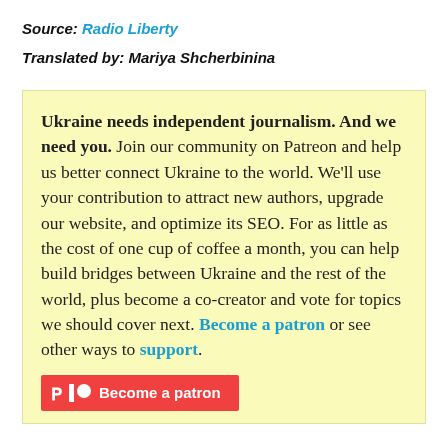Source: Radio Liberty
Translated by: Mariya Shcherbinina
Ukraine needs independent journalism. And we need you. Join our community on Patreon and help us better connect Ukraine to the world. We'll use your contribution to attract new authors, upgrade our website, and optimize its SEO. For as little as the cost of one cup of coffee a month, you can help build bridges between Ukraine and the rest of the world, plus become a co-creator and vote for topics we should cover next. Become a patron or see other ways to support.
[Figure (other): Red Patreon button with 'P' logo and text 'Become a patron']